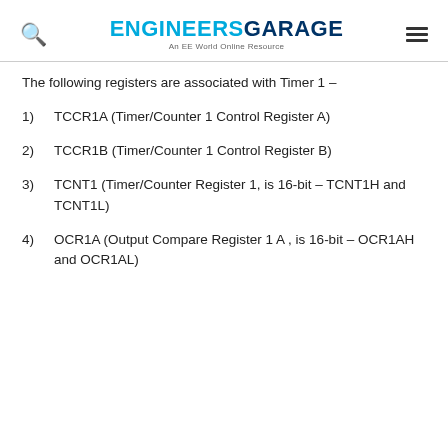ENGINEERS GARAGE — An EE World Online Resource
The following registers are associated with Timer 1 –
1)   TCCR1A (Timer/Counter 1 Control Register A)
2)   TCCR1B (Timer/Counter 1 Control Register B)
3)   TCNT1 (Timer/Counter Register 1, is 16-bit – TCNT1H and TCNT1L)
4)   OCR1A (Output Compare Register 1 A , is 16-bit – OCR1AH and OCR1AL)